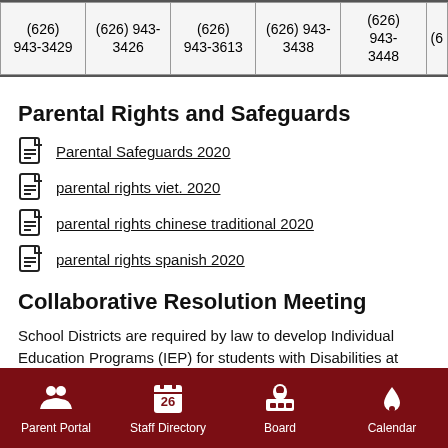| (626) 943-3429 | (626) 943-3426 | (626) 943-3613 | (626) 943-3438 | (626) 943-3448 | (6... |
Parental Rights and Safeguards
Parental Safeguards 2020
parental rights viet. 2020
parental rights chinese traditional 2020
parental rights spanish 2020
Collaborative Resolution Meeting
School Districts are required by law to develop Individual Education Programs (IEP) for students with Disabilities at least
Parent Portal   Staff Directory   Board   Calendar